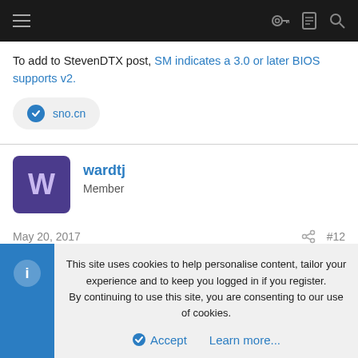Navigation bar with menu, key, document, and search icons
To add to StevenDTX post, SM indicates a 3.0 or later BIOS supports v2.
sno.cn
wardtj
Member
May 20, 2017   #12
This site uses cookies to help personalise content, tailor your experience and to keep you logged in if you register.
By continuing to use this site, you are consenting to our use of cookies.
Accept   Learn more...